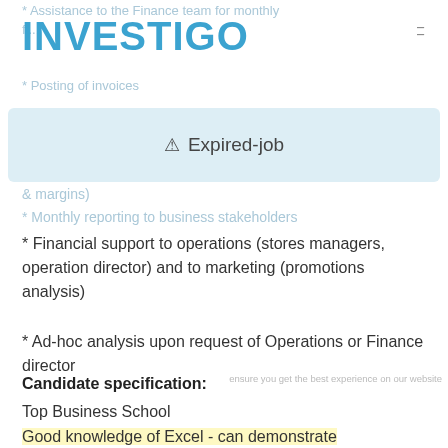INVESTIGO
* Assistance to the Finance team for monthly fi...
* Posting of invoices
[Figure (other): Expired-job banner with warning triangle icon]
& margins)
* Monthly reporting to business stakeholders
* Financial support to operations (stores managers, operation director) and to marketing (promotions analysis)
* Ad-hoc analysis upon request of Operations or Finance director
Candidate specification:
Top Business School
Good knowledge of Excel - can demonstrate understanding and experience of pivot tables and Vlookups. Macro would be an advantage